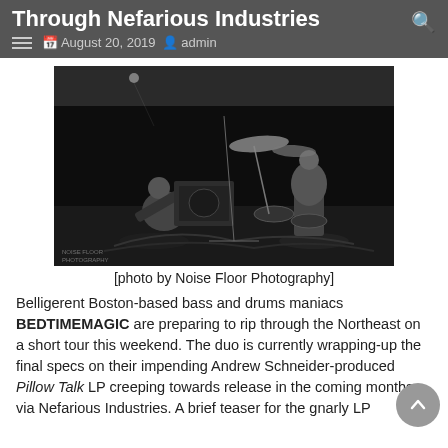Through Nefarious Industries
August 20, 2019  admin
[Figure (photo): Black and white live performance photo of two musicians: one playing bass guitar kneeling on stage, one playing drums. Stage gear and cables visible. Watermark: NOISE FLOOR PHOTOGRAPHY.]
[photo by Noise Floor Photography]
Belligerent Boston-based bass and drums maniacs BEDTIMEMAGIC are preparing to rip through the Northeast on a short tour this weekend. The duo is currently wrapping-up the final specs on their impending Andrew Schneider-produced Pillow Talk LP creeping towards release in the coming months via Nefarious Industries. A brief teaser for the gnarly LP